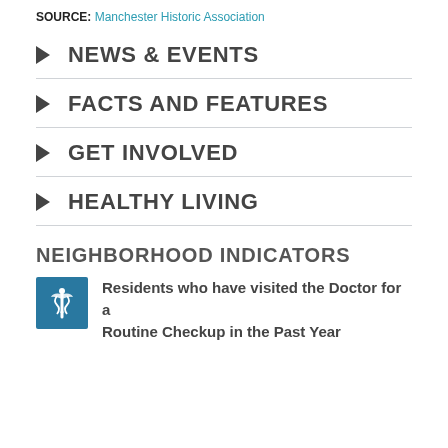SOURCE: Manchester Historic Association
NEWS & EVENTS
FACTS AND FEATURES
GET INVOLVED
HEALTHY LIVING
NEIGHBORHOOD INDICATORS
Residents who have visited the Doctor for a Routine Checkup in the Past Year